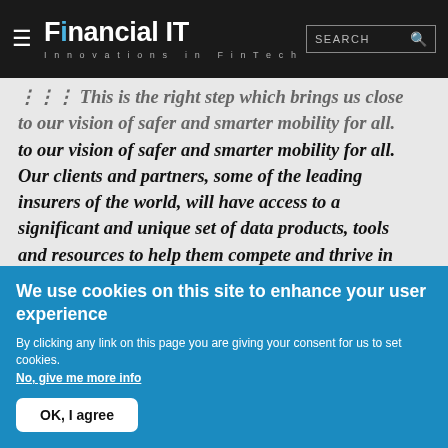Financial IT — Innovations in FinTech
to our vision of safer and smarter mobility for all. Our clients and partners, some of the leading insurers of the world, will have access to a significant and unique set of data products, tools and resources to help them compete and thrive in a connected new world ahead.
We really appreciated Cavendish's excellent advice, their
We use cookies on this site to enhance your user experience
By clicking any link on this page you are giving your consent for us to set cookies.
No, give me more info
OK, I agree